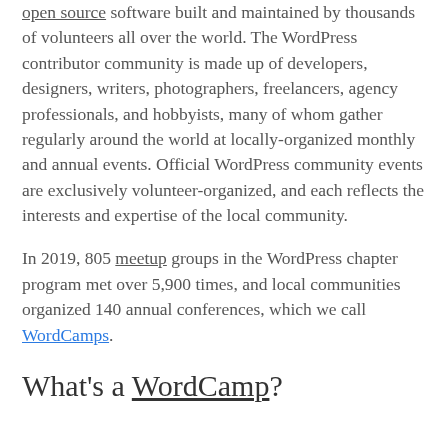open source software built and maintained by thousands of volunteers all over the world. The WordPress contributor community is made up of developers, designers, writers, photographers, freelancers, agency professionals, and hobbyists, many of whom gather regularly around the world at locally-organized monthly and annual events. Official WordPress community events are exclusively volunteer-organized, and each reflects the interests and expertise of the local community.
In 2019, 805 meetup groups in the WordPress chapter program met over 5,900 times, and local communities organized 140 annual conferences, which we call WordCamps.
What's a WordCamp?